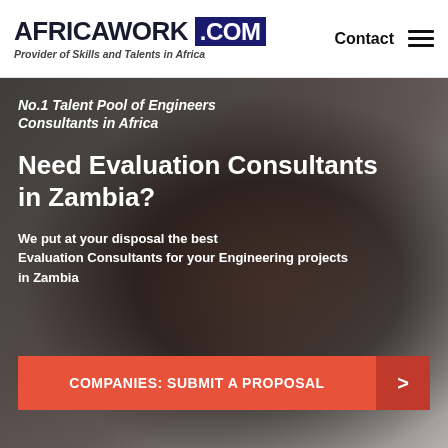AFRICAWORK .COM | Provider of Skills and Talents in Africa | Contact
No.1 Talent Pool of Engineers Consultants in Africa
Need Evaluation Consultants in Zambia?
We put at your disposal the best Evaluation Consultants for your Engineering projects in Zambia
COMPANIES: SUBMIT A PROPOSAL